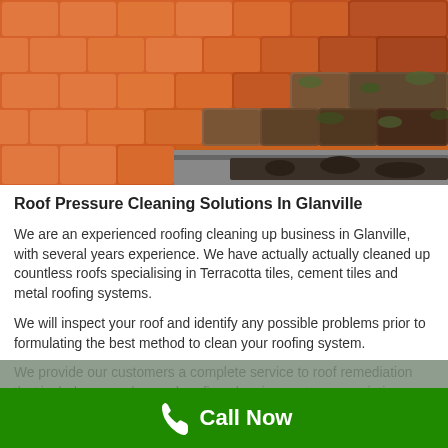[Figure (photo): Close-up photo of terracotta roof tiles, showing clean tiles on the left and dirty/mossy tiles on the right side, with a metal gutter visible along the edge.]
Roof Pressure Cleaning Solutions In Glanville
We are an experienced roofing cleaning up business in Glanville, with several years experience. We have actually actually cleaned up countless roofs specialising in Terracotta tiles, cement tiles and metal roofing systems.
We will inspect your roof and identify any possible problems prior to formulating the best method to clean your roofing system.
We provide our customers a complete service to roof remediation that includes our advanced roofing cleaning system, re-pointing
Call Now